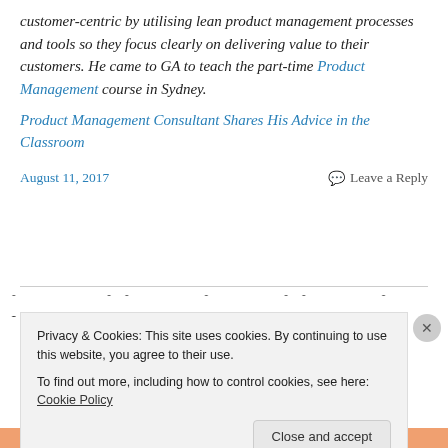customer-centric by utilising lean product management processes and tools so they focus clearly on delivering value to their customers. He came to GA to teach the part-time Product Management course in Sydney.
Product Management Consultant Shares His Advice in the Classroom
August 11, 2017
Leave a Reply
Privacy & Cookies: This site uses cookies. By continuing to use this website, you agree to their use.
To find out more, including how to control cookies, see here: Cookie Policy
Close and accept